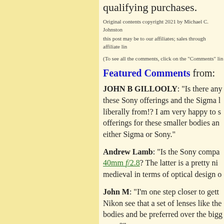qualifying purchases.
Original contents copyright 2021 by Michael C. Johnston
this post may be to our affiliates; sales through affiliate lin
(To see all the comments, click on the "Comments" lin
Featured Comments from:
JOHN B GILLOOLY: "Is there any these Sony offerings and the Sigma l liberally from!? I am very happy to s offerings for these smaller bodies an either Sigma or Sony."
Andrew Lamb: "Is the Sony compa 40mm f/2.8? The latter is a pretty ni medieval in terms of optical design o
John M: "I'm one step closer to gett Nikon see that a set of lenses like the bodies and be preferred over the bigg users?"